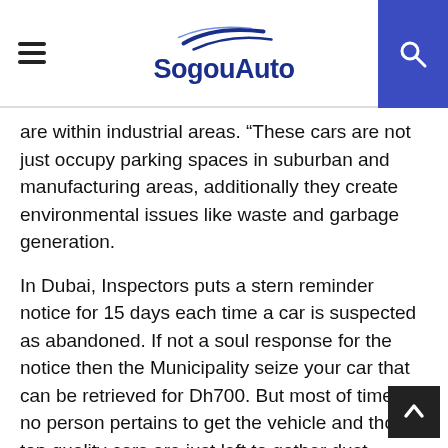SogouAuto
are within industrial areas. “These cars are not just occupy parking spaces in suburban and manufacturing areas, additionally they create environmental issues like waste and garbage generation.
In Dubai, Inspectors puts a stern reminder notice for 15 days each time a car is suspected as abandoned. If not a soul response for the notice then the Municipality seize your car that can be retrieved for Dh700. But most of times no person pertains to get the vehicle and those top quality cars are just left to gather dust.
More than 400 abandoned automobiles departed within the hammer within a open car auction in 2009 in Abu Dhabi. The majority of vehicles were seized after being abandoned in parking areas, roadsides or in open areas